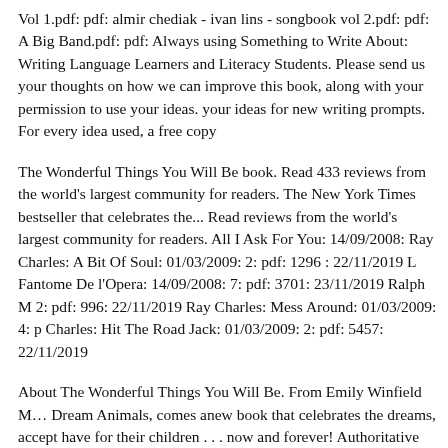Vol 1.pdf: pdf: almir chediak - ivan lins - songbook vol 2.pdf: pdf: A Big Band.pdf: pdf: Always using Something to Write About: Writing Language Learners and Literacy Students. Please send us your thoughts on how we can improve this book, along with your permission to use your ideas. your ideas for new writing prompts. For every idea used, a free copy
The Wonderful Things You Will Be book. Read 433 reviews from the world's largest community for readers. The New York Times bestseller that celebrates the... Read reviews from the world's largest community for readers. All I Ask For You: 14/09/2008: Ray Charles: A Bit Of Soul: 01/03/2009: 2: pdf: 1296 : 22/11/2019 L Fantome De l'Opera: 14/09/2008: 7: pdf: 3701: 23/11/2019 Ralph M 2: pdf: 996: 22/11/2019 Ray Charles: Mess Around: 01/03/2009: 4: p Charles: Hit The Road Jack: 01/03/2009: 2: pdf: 5457: 22/11/2019
About The Wonderful Things You Will Be. From Emily Winfield Martin, author of Dream Animals, comes anew book that celebrates the dreams, accept have for their children . . . now and forever! Authoritative information Wonderful, Wonderful Jesus!, with lyrics, PDF files, printable scores recordings, piano resources, and products for worship planners.